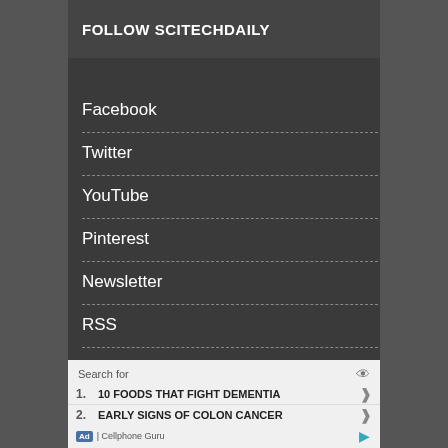FOLLOW SCITECHDAILY
Facebook
Twitter
YouTube
Pinterest
Newsletter
RSS
[Figure (screenshot): Advertisement panel with 'Search for' label, eye icon, two numbered links: 1. 10 FOODS THAT FIGHT DEMENTIA, 2. EARLY SIGNS OF COLON CANCER, with chevron arrows. Footer shows 'Ad | Cellphone Guru' with play icon.]